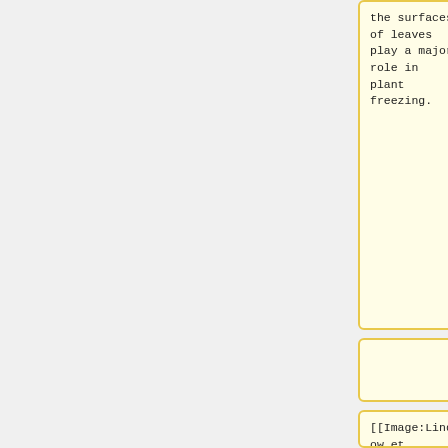the surfaces of leaves play a major role in plant freezing.
the surfaces of leaves play a major role in plant freezing.
[[Image:Lindow et al.jpg|thumb|400px|right|[Figure 1] <br> Proportions of frozen droplets with respect to temperature at <i>Pseudomon
[[Image:Lindow et al.jpg|thumb|400px|right|[Figure 3] <br> Proportions of frozen droplets with respect to temperature at <i>Pseudomon